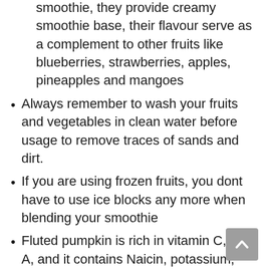smoothie, they provide creamy smoothie base, their flavour serve as a complement to other fruits like blueberries, strawberries, apples, pineapples and mangoes
Always remember to wash your fruits and vegetables in clean water before usage to remove traces of sands and dirt.
If you are using frozen fruits, you dont have to use ice blocks any more when blending your smoothie
Fluted pumpkin is rich in vitamin C, B6, A, and it contains Naicin, potassium, iron , magnesium as well as Alpha carotene and Beta carotene which serves as